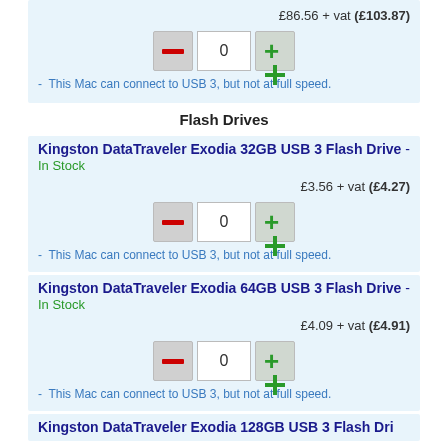£86.56 + vat (£103.87)
[Figure (other): Quantity selector with minus button, 0 input box, and plus button]
- This Mac can connect to USB 3, but not at full speed.
Flash Drives
Kingston DataTraveler Exodia 32GB USB 3 Flash Drive - In Stock
£3.56 + vat (£4.27)
[Figure (other): Quantity selector with minus button, 0 input box, and plus button]
- This Mac can connect to USB 3, but not at full speed.
Kingston DataTraveler Exodia 64GB USB 3 Flash Drive - In Stock
£4.09 + vat (£4.91)
[Figure (other): Quantity selector with minus button, 0 input box, and plus button]
- This Mac can connect to USB 3, but not at full speed.
Kingston DataTraveler Exodia 128GB USB 3 Flash Drive